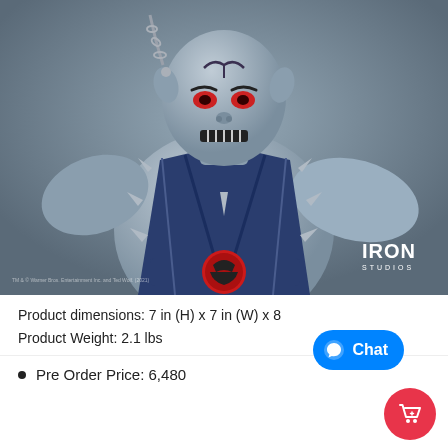[Figure (photo): Iron Studios collectible figure of Panthro from ThunderCats — a grey-skinned muscular villain/character wearing a dark blue spiked vest with ThunderCats logo belt buckle in red, holding a chain, posed aggressively. Iron Studios logo in white text at bottom right of photo.]
Product dimensions: 7 in (H) x 7 in (W) x 8...
Product Weight: 2.1 lbs
Pre Order Price: 6,480